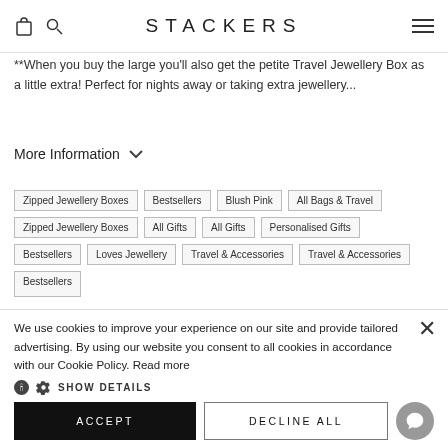STACKERS
**When you buy the large you'll also get the petite Travel Jewellery Box as a little extra! Perfect for nights away or taking extra jewellery...
More Information
Zipped Jewellery Boxes
Bestsellers
Blush Pink
All Bags & Travel
Zipped Jewellery Boxes
All Gifts
All Gifts
Personalised Gifts
Bestsellers
Loves Jewellery
Travel & Accessories
Travel & Accessories
Bestsellers
We use cookies to improve your experience on our site and provide tailored advertising. By using our website you consent to all cookies in accordance with our Cookie Policy. Read more
SHOW DETAILS
ACCEPT
DECLINE ALL